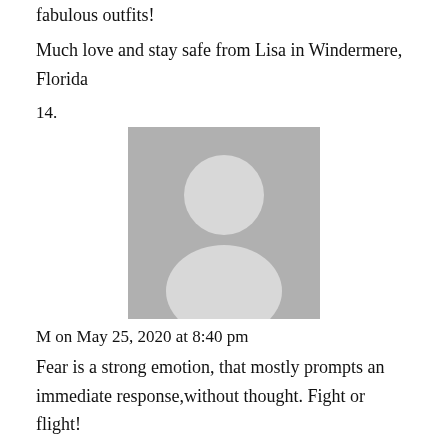fabulous outfits!
Much love and stay safe from Lisa in Windermere, Florida
14.
[Figure (illustration): Default user avatar placeholder - gray silhouette of a person on gray background]
M on May 25, 2020 at 8:40 pm
Fear is a strong emotion, that mostly prompts an immediate response,without thought. Fight or flight!
15.
[Figure (illustration): Default user avatar placeholder - gray silhouette of a person on gray background]
Jean Josephus on May 25, 2020 at 8:44 pm
I own a Hair Design Studio in Chapel Hill, NC.